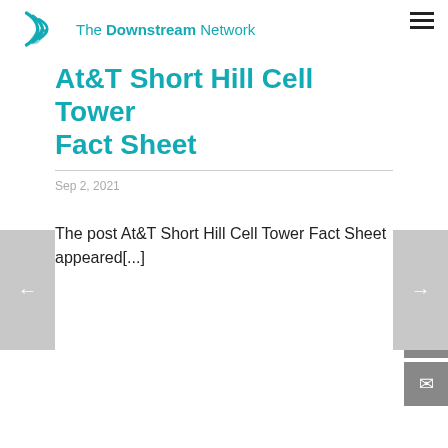The Downstream Network
At&T Short Hill Cell Tower Fact Sheet
Sep 2, 2021
The post At&T Short Hill Cell Tower Fact Sheet appeared[...]